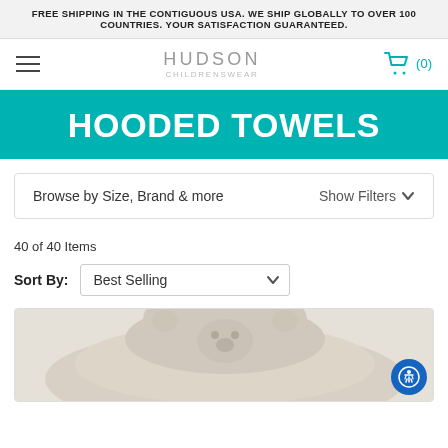FREE SHIPPING IN THE CONTIGUOUS USA. WE SHIP GLOBALLY TO OVER 100 COUNTRIES. YOUR SATISFACTION GUARANTEED.
[Figure (logo): Hudson Childrenswear logo with hamburger menu and shopping cart icon showing (0) items]
HOODED TOWELS
Browse by Size, Brand & more    Show Filters ▾
40 of 40 Items
Sort By: Best Selling
[Figure (photo): Gray hooded towel product photo with bear ear design, partially visible]